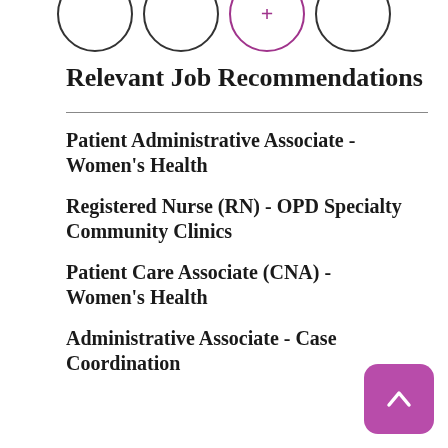[Figure (illustration): Row of four circular profile/step icons at the top, with the third one highlighted in purple/pink with a plus symbol]
Relevant Job Recommendations
Patient Administrative Associate - Women's Health
Registered Nurse (RN) - OPD Specialty Community Clinics
Patient Care Associate (CNA) - Women's Health
Administrative Associate - Case Coordination